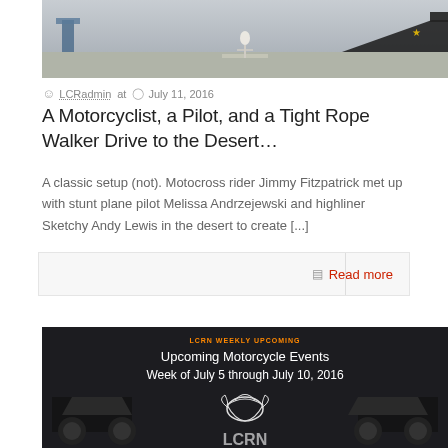[Figure (photo): Desert scene with stunt plane, scissor lift, and ramp on a runway]
LCRadmin at  July 11, 2016
A Motorcyclist, a Pilot, and a Tight Rope Walker Drive to the Desert…
A classic setup (not). Motocross rider Jimmy Fitzpatrick met up with stunt plane pilot Melissa Andrzejewski and highliner Sketchy Andy Lewis in the desert to create [...]
Read more
[Figure (photo): Upcoming Motorcycle Events Week of July 5 through July 10, 2016 with LCRN logo and motorcycles]